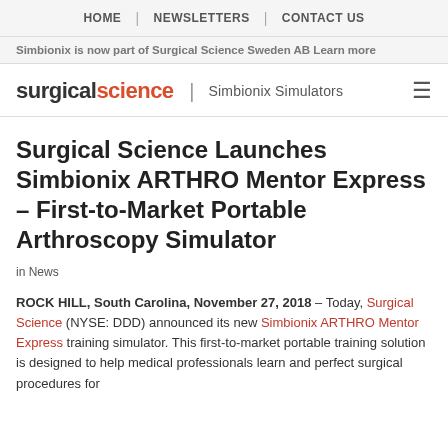HOME | NEWSLETTERS | CONTACT US
Simbionix is now part of Surgical Science Sweden AB Learn more
[Figure (logo): surgical science | Simbionix Simulators logo with hamburger menu icon]
Surgical Science Launches Simbionix ARTHRO Mentor Express – First-to-Market Portable Arthroscopy Simulator
in News
ROCK HILL, South Carolina, November 27, 2018 – Today, Surgical Science (NYSE: DDD) announced its new Simbionix ARTHRO Mentor Express training simulator. This first-to-market portable training solution is designed to help medical professionals learn and perfect surgical procedures for